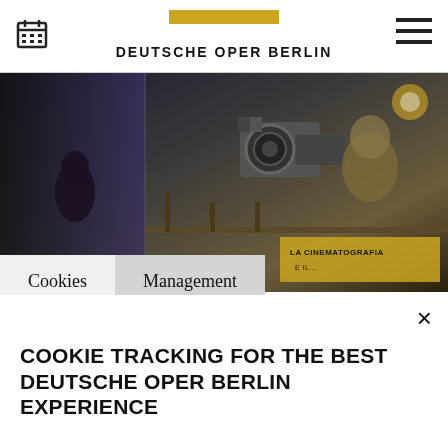DEUTSCHE OPER BERLIN
[Figure (photo): Stage production photo showing a large film camera prop and performers in costume, dark theatrical setting with 'LA CINEMATOGRAFIA' text visible]
Cookies
Management
COOKIE TRACKING FOR THE BEST DEUTSCHE OPER BERLIN EXPERIENCE
By selecting "Accept necessary cookies" you allow Deutsche Oper Berlin to use technically necessary cookies, pixels, tags and similar technologies. Selecting
La forza del destino
Giuseppe Verdi [1813 – 1901]